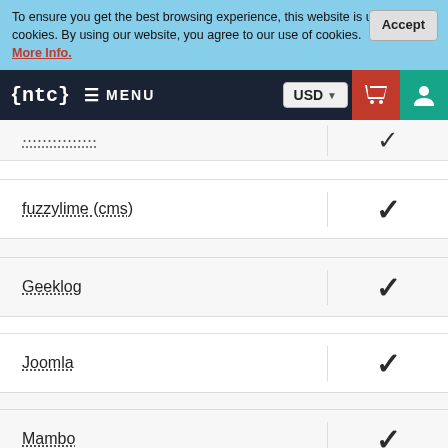To ensure you get the best browsing experience, this website is using cookies. By using our website, you agree to our use of cookies. More Info.
{ntc} MENU | USD | cart | user
| CMS Name | Supported |
| --- | --- |
| (partial/cut off) | ✓ |
| fuzzylime (cms) | ✓ |
| Geeklog | ✓ |
| Joomla | ✓ |
| Mambo | ✓ |
| Moodle | ✓ |
| Nucleus | ✓ |
| Open Realty | ✓ |